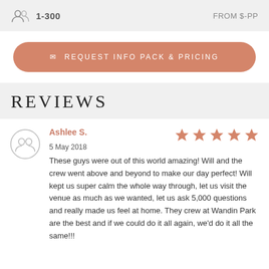1-300   FROM $-PP
REQUEST INFO PACK & PRICING
REVIEWS
Ashlee S.
5 May 2018
These guys were out of this world amazing! Will and the crew went above and beyond to make our day perfect! Will kept us super calm the whole way through, let us visit the venue as much as we wanted, let us ask 5,000 questions and really made us feel at home. They crew at Wandin Park are the best and if we could do it all again, we'd do it all the same!!!